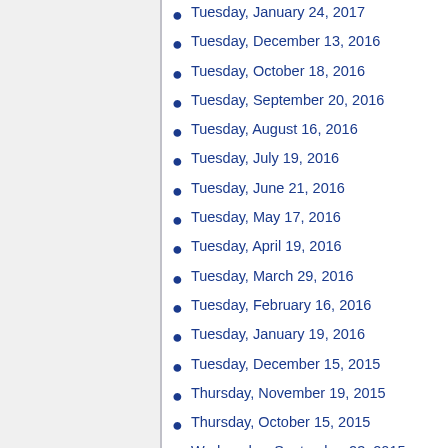Tuesday, January 24, 2017
Tuesday, December 13, 2016
Tuesday, October 18, 2016
Tuesday, September 20, 2016
Tuesday, August 16, 2016
Tuesday, July 19, 2016
Tuesday, June 21, 2016
Tuesday, May 17, 2016
Tuesday, April 19, 2016
Tuesday, March 29, 2016
Tuesday, February 16, 2016
Tuesday, January 19, 2016
Tuesday, December 15, 2015
Thursday, November 19, 2015
Thursday, October 15, 2015
Wednesday, September 23, 2015 (special meeting)
Thursday, September 17, 2015
Tuesday, August 18, 2015
Tuesday, July 21, 2015